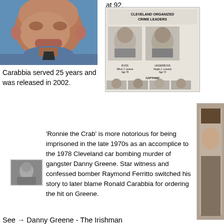[Figure (photo): Close-up photo of an elderly man's face with blue background and blue shirt]
at 92.
[Figure (photo): Cleveland Organized Crime Leaders document with black and white mugshot photos arranged in a grid showing boss, underboss, and captains]
Carabbia served 25 years and was released in 2002.
[Figure (photo): Small black and white thumbnail photo]
'Ronnie the Crab' is more notorious for being imprisoned in the late 1970s as an accomplice to the 1978 Cleveland car bombing murder of gangster Danny Greene. Star witness and confessed bomber Raymond Ferritto switched his story to later blame Ronald Carabbia for ordering the hit on Greene.
[Figure (photo): Tall narrow photo of a person on the right side]
See → Danny Greene - The Irishman